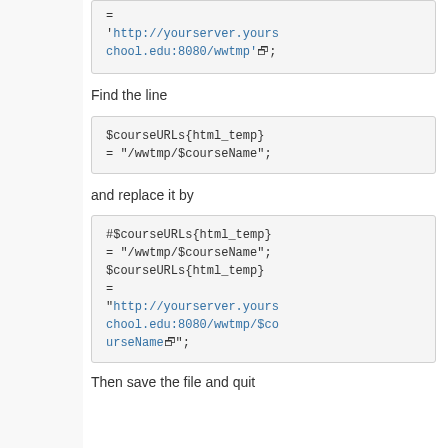= 'http://yourserver.yourschool.edu:8080/wwtmp';
Find the line
$courseURLs{html_temp} = "/wwtmp/$courseName";
and replace it by
#$courseURLs{html_temp} = "/wwtmp/$courseName";
$courseURLs{html_temp} = "http://yourserver.yourschool.edu:8080/wwtmp/$courseName";
Then save the file and quit